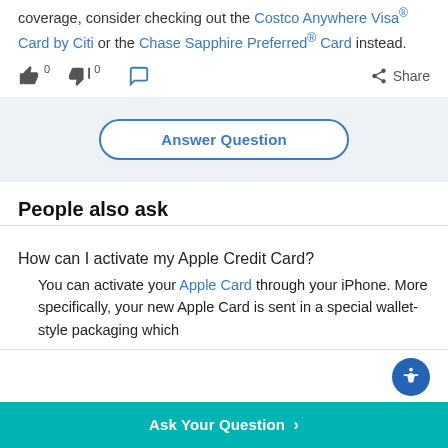coverage, consider checking out the Costco Anywhere Visa® Card by Citi or the Chase Sapphire Preferred® Card instead.
👍 0  👎 0  💬  Share
Answer Question
People also ask
How can I activate my Apple Credit Card?
You can activate your Apple Card through your iPhone. More specifically, your new Apple Card is sent in a special wallet-style packaging which
Ask Your Question >